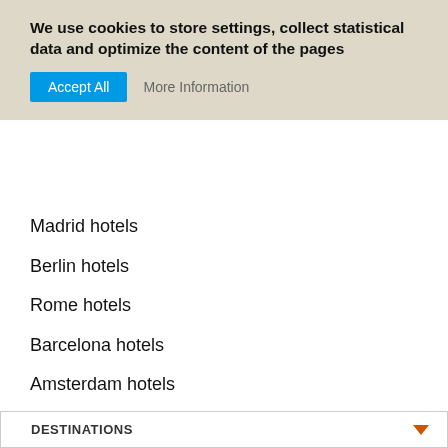We use cookies to store settings, collect statistical data and optimize the content of the pages
Madrid hotels
Berlin hotels
Rome hotels
Barcelona hotels
Amsterdam hotels
London hotels
Prague Hotels
Istanbul hotels
Paris hotels
Milan hotels
Rio de Janeiro hotels
Marrakech riads and hotels
DESTINATIONS